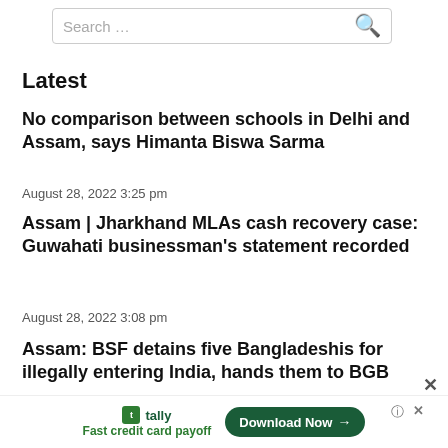Search ...
Latest
No comparison between schools in Delhi and Assam, says Himanta Biswa Sarma
August 28, 2022 3:25 pm
Assam | Jharkhand MLAs cash recovery case: Guwahati businessman’s statement recorded
August 28, 2022 3:08 pm
Assam: BSF detains five Bangladeshis for illegally entering India, hands them to BGB
August 28, 2022 2:54 pm
[Figure (screenshot): Tally advertisement bar at the bottom: Fast credit card payoff with Download Now button]